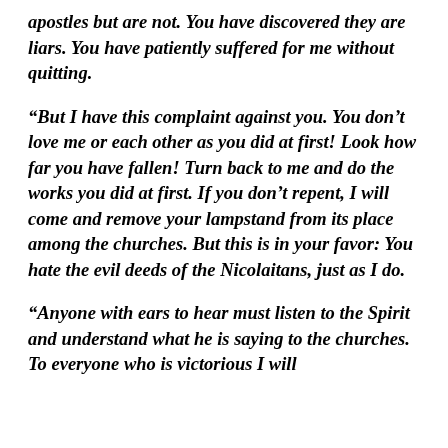apostles but are not. You have discovered they are liars. You have patiently suffered for me without quitting.
“But I have this complaint against you. You don’t love me or each other as you did at first! Look how far you have fallen! Turn back to me and do the works you did at first. If you don’t repent, I will come and remove your lampstand from its place among the churches. But this is in your favor: You hate the evil deeds of the Nicolaitans, just as I do.
“Anyone with ears to hear must listen to the Spirit and understand what he is saying to the churches. To everyone who is victorious I will